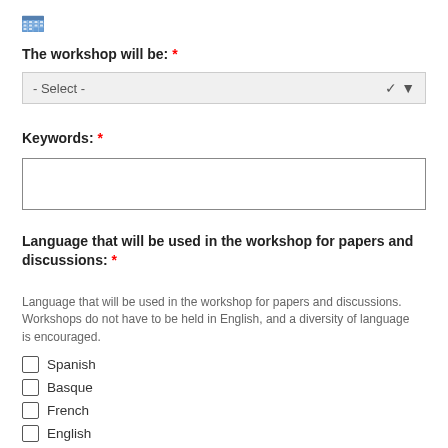[Figure (other): Calendar icon]
The workshop will be: *
[Figure (other): Select dropdown box with '- Select -' placeholder]
Keywords: *
[Figure (other): Empty text input box for keywords]
Language that will be used in the workshop for papers and discussions: *
Language that will be used in the workshop for papers and discussions. Workshops do not have to be held in English, and a diversity of language is encouraged.
Spanish
Basque
French
English